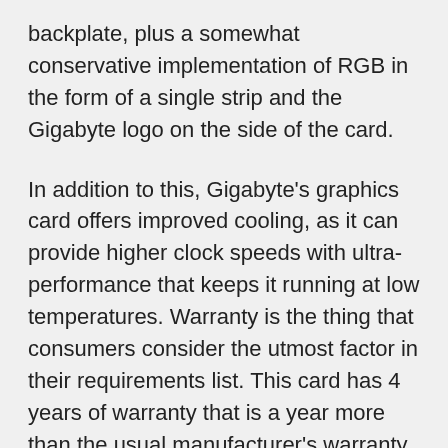backplate, plus a somewhat conservative implementation of RGB in the form of a single strip and the Gigabyte logo on the side of the card.
In addition to this, Gigabyte's graphics card offers improved cooling, as it can provide higher clock speeds with ultra-performance that keeps it running at low temperatures. Warranty is the thing that consumers consider the utmost factor in their requirements list. This card has 4 years of warranty that is a year more than the usual manufacturer's warranty.